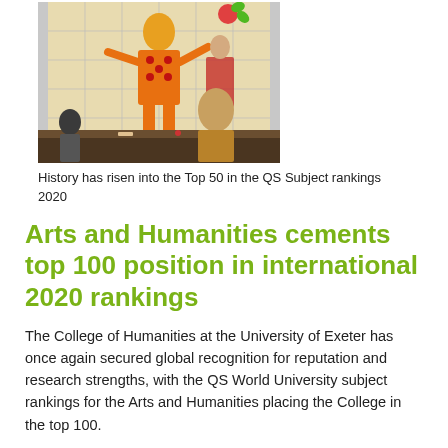[Figure (photo): Two students looking at a large projected display showing colorful artistic illustrations of figures in elaborate costumes, seated at a table in a classroom or studio setting.]
History has risen into the Top 50 in the QS Subject rankings 2020
Arts and Humanities cements top 100 position in international 2020 rankings
The College of Humanities at the University of Exeter has once again secured global recognition for reputation and research strengths, with the QS World University subject rankings for the Arts and Humanities placing the College in the top 100.
The subjects are positioned 98th in the latest edition of the rankings, released today (March 4th 2020) with Archaeology